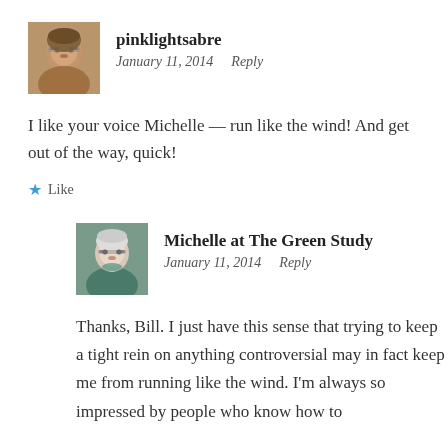[Figure (photo): Avatar photo of pinklightsabre, a man with glasses]
pinklightsabre
January 11, 2014   Reply
I like your voice Michelle — run like the wind! And get out of the way, quick!
★ Like
[Figure (photo): Avatar photo of Michelle at The Green Study, a woman with short white hair and glasses]
Michelle at The Green Study
January 11, 2014   Reply
Thanks, Bill. I just have this sense that trying to keep a tight rein on anything controversial may in fact keep me from running like the wind. I'm always so impressed by people who know how to